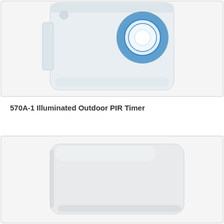[Figure (photo): Photo of a white square outdoor PIR timer device with a blue illuminated circular sensor/button on the front face, shown at an angle against a white background with a light border around the image]
570A-1 Illuminated Outdoor PIR Timer
[Figure (photo): Photo of a white rectangular flat panel device with rounded corners, shown at a slight angle against a white background with a light border around the image]